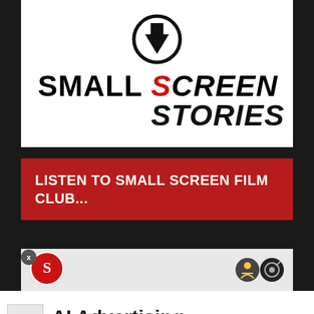[Figure (logo): Small Screen Stories logo with circular icon (arrow pointing down) above bold text 'SMALL SCREEN STORIES' in black and red italic style]
LISTEN TO SMALL SCREEN FILM CLUB...
[Figure (screenshot): Partial podcast player bar with Small Screen Stories icon on left and playback controls on right, on light gray background]
AI Advertising
Reach Your Audience